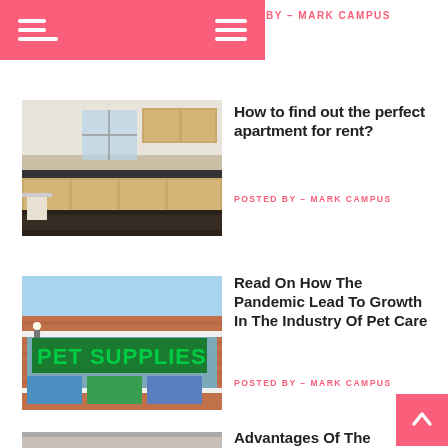[Figure (screenshot): Pink navigation banner with two hamburger menu icons on white/pink background]
BY – MARK CAMPUS
[Figure (photo): Apartment kitchen interior with wood cabinets and dark floor]
How to find out the perfect apartment for rent?
POSTED BY – MARK CAMPUS
[Figure (photo): Pet Supplies Plus store exterior, brick building with green signage]
Read On How The Pandemic Lead To Growth In The Industry Of Pet Care
POSTED BY – MARK CAMPUS
[Figure (photo): Twin bunk bed with gray and orange bedding]
Advantages Of The Twin Mattresses Over Regular One